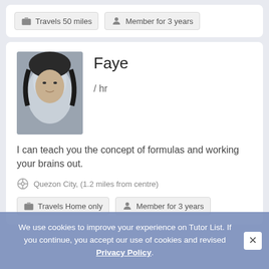Travels 50 miles
Member for 3 years
Faye
/ hr
I can teach you the concept of formulas and working your brains out.
Quezon City, (1.2 miles from centre)
Travels Home only
Member for 3 years
We use cookies to improve your experience on Tutor List. If you continue, you accept our use of cookies and revised Privacy Policy.